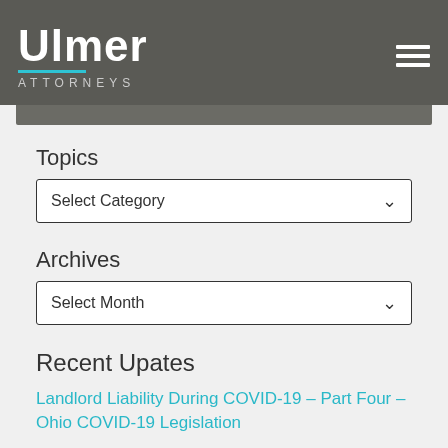[Figure (logo): Ulmer Attorneys law firm logo with teal underline on dark gray header bar, with hamburger menu icon on right]
Topics
Select Category
Archives
Select Month
Recent Upates
Landlord Liability During COVID-19 – Part Four – Ohio COVID-19 Legislation